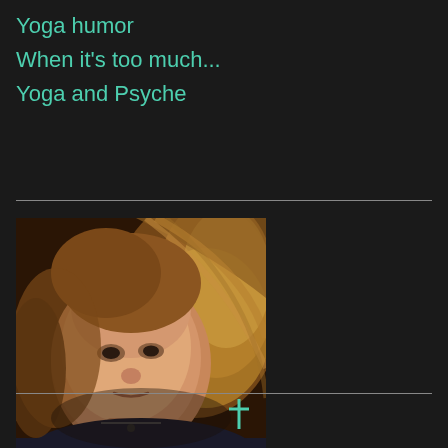Yoga humor
When it's too much...
Yoga and Psyche
[Figure (photo): Portrait photo of a woman with blonde hair blowing in the wind, smiling slightly, wearing a dark top with a necklace, against a dark background.]
[Figure (other): Partial teal/mint colored icon or logo visible at bottom center of page]